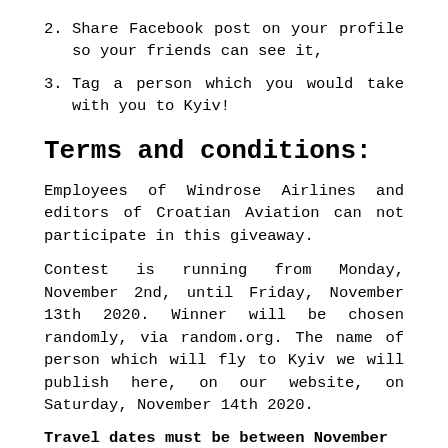2. Share Facebook post on your profile so your friends can see it,
3. Tag a person which you would take with you to Kyiv!
Terms and conditions:
Employees of Windrose Airlines and editors of Croatian Aviation can not participate in this giveaway.
Contest is running from Monday, November 2nd, until Friday, November 13th 2020. Winner will be chosen randomly, via random.org. The name of person which will fly to Kyiv we will publish here, on our website, on Saturday, November 14th 2020.
Travel dates must be between November